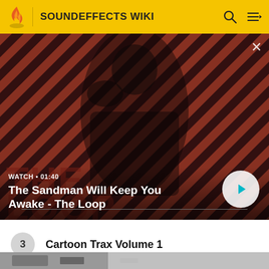SOUNDEFFECTS WIKI
[Figure (screenshot): Video thumbnail showing a dark-clothed figure with a crow/raven on shoulder against a red and black diagonal striped background. Overlay text: WATCH • 01:40 / The Sandman Will Keep You Awake - The Loop. Play button visible bottom right.]
3  Cartoon Trax Volume 1
[Figure (photo): Partially visible thumbnail image at bottom of page, black and white photo]